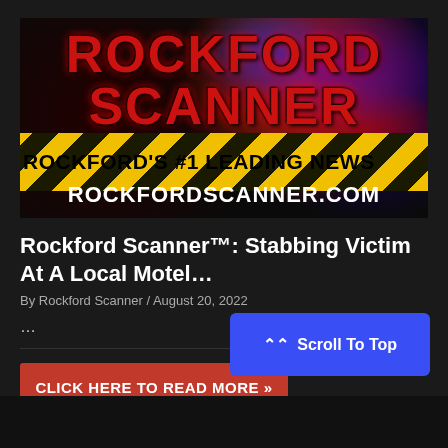[Figure (logo): Rockford Scanner logo banner with police lights background, yellow caution tape reading ROCKFORD'S #1 LEADING NEWS, and URL ROCKFORDSCANNER.COM]
Rockford Scanner™: Stabbing Victim At A Local Motel…
By Rockford Scanner / August 20, 2022
…
CLICK HERE TO READ MORE »
Scroll To Top